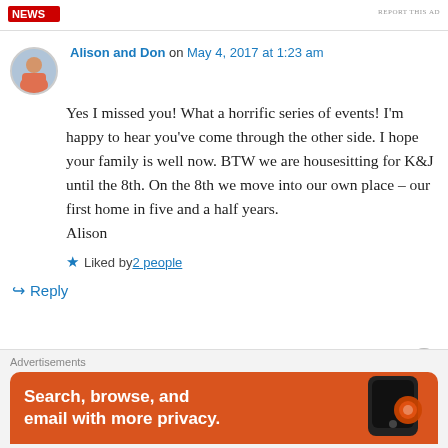[Figure (logo): Red logo/banner in top left corner]
REPORT THIS AD
Alison and Don on May 4, 2017 at 1:23 am
Yes I missed you! What a horrific series of events! I'm happy to hear you've come through the other side. I hope your family is well now. BTW we are housesitting for K&J until the 8th. On the 8th we move into our own place – our first home in five and a half years.
Alison
Liked by 2 people
Reply
Advertisements
Search, browse, and email with more privacy.